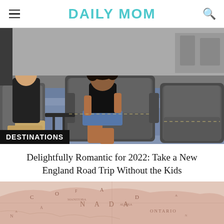DAILY MOM
[Figure (photo): Two people sitting in grey leather armchairs at a furniture store or lounge, with a woman smiling at the camera and a man relaxing. A 'DESTINATIONS' label appears at the bottom left of the image.]
Delightfully Romantic for 2022: Take a New England Road Trip Without the Kids
[Figure (map): A vintage-style pink/rose tinted map showing Canada with geographic labels and borders.]